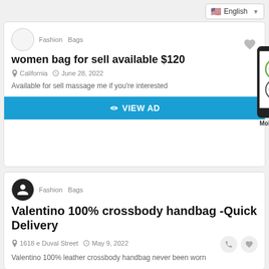English (language selector)
women bag for sell available $120
California  June 28, 2022
Available for sell massage me if you're interested
VIEW AD
[Figure (illustration): Smartphone showing Android and Apple logos, with 'Mobile App' label]
Fashion  Bags
Valentino 100% crossbody handbag -Quick Delivery
1618 e Duval Street  May 9, 2022
Valentino 100% leather crossbody handbag never been worn